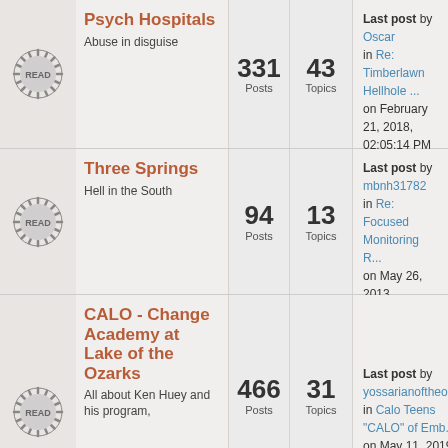Psych Hospitals - Abuse in disguise - 331 Posts - 43 Topics - Last post by Oscar in Re: Timberlawn Hellhole ... on February 21, 2018, 02:05:14 PM
Three Springs - Hell in the South - 94 Posts - 13 Topics - Last post by mbnh31782 in Re: Focused Monitoring R... on May 26, 2013, 01:20:29 PM
CALO - Change Academy at Lake of the Ozarks - All about Ken Huey and his program, - 466 Posts - 31 Topics - Last post by yossarianoftheozarks in Calo Teens "CALO" of Emb... on May 11, 2019, 01:18:16 PM